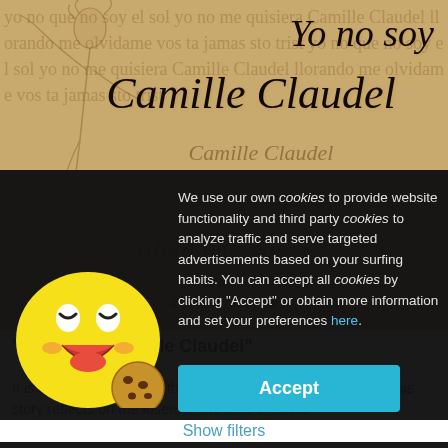[Figure (illustration): Poster for 'Yo no soy Camille Claudel' theatre show. Aged parchment background with handwritten-style text, a sketch of a woman figure on the left, and stylized calligraphic title text. Shows actress Aída Moraga and director Juan Carlos González.]
"Yo no soy Camille Claudel"
It is always written from the perspective of the winners, but this story reflects on the losers in the face of social
We use our own cookies to provide website functionality and third party cookies to analyze traffic and serve targeted advertisements based on your surfing habits. You can accept all cookies by clicking "Accept" or obtain more information and set your preferences here.
Accept
Show filters